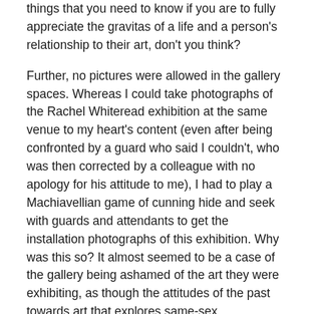things that you need to know if you are to fully appreciate the gravitas of a life and a person's relationship to their art, don't you think?
Further, no pictures were allowed in the gallery spaces. Whereas I could take photographs of the Rachel Whiteread exhibition at the same venue to my heart's content (even after being confronted by a guard who said I couldn't, who was then corrected by a colleague with no apology for his attitude to me), I had to play a Machiavellian game of cunning hide and seek with guards and attendants to get the installation photographs of this exhibition. Why was this so? It almost seemed to be a case of the gallery being ashamed of the art they were exhibiting, as though the attitudes of the past towards art that explores same-sex relationships was being replicated by the duplicity of the gallery itself: the art could be seen